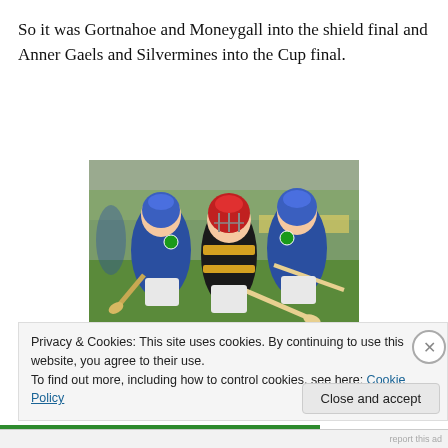So it was Gortnahoe and Moneygall into the shield final and Anner Gaels and Silvermines into the Cup final.
[Figure (photo): Young hurling players in action during a GAA match. One player in a black and yellow jersey with a red helmet is surrounded by two players in blue jerseys with blue helmets, all holding hurleys.]
As is the ‘norm’ on big GAA days, the little ones have to
Privacy & Cookies: This site uses cookies. By continuing to use this website, you agree to their use.
To find out more, including how to control cookies, see here: Cookie Policy
Close and accept